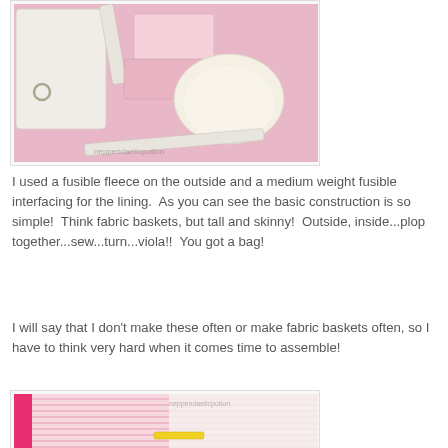[Figure (photo): Sewing/crafting photo showing fabric bag construction pieces including white and pink fabrics on a pink cutting mat]
I used a fusible fleece on the outside and a medium weight fusible interfacing for the lining.  As you can see the basic construction is so simple!  Think fabric baskets, but tall and skinny!  Outside, inside...plop together...sew...turn...viola!!  You got a bag!
I will say that I don't make these often or make fabric baskets often, so I have to think very hard when it comes time to assemble!
[Figure (photo): Close-up photo of pink striped fabric being assembled into a bag with visible lining]